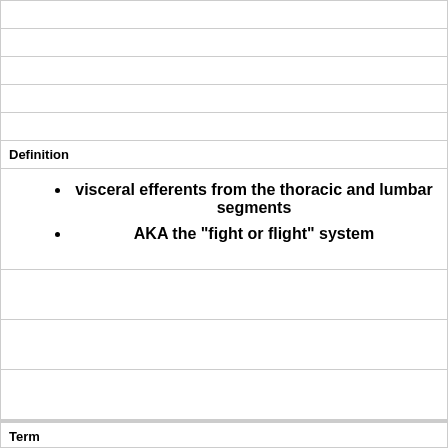Definition
visceral efferents from the thoracic and lumbar segments
AKA the "fight or flight" system
Term
sympathetic division